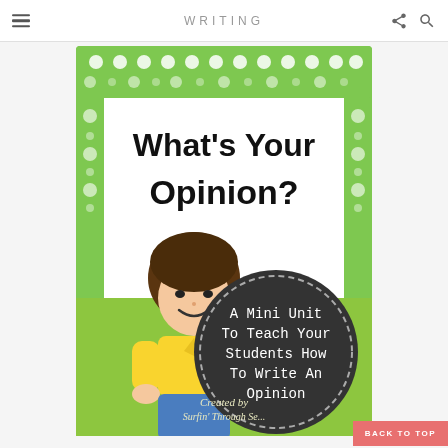WRITING
[Figure (illustration): Book cover for 'What's Your Opinion?' — a children's educational writing mini unit. Green decorative border with polka dots and circles. Large black bold text reads 'What's Your Opinion?' at the top. Below is a cartoon boy with dark bowl-cut hair wearing a yellow shirt and blue shorts. A dark circular badge reads 'A Mini Unit To Teach Your Students How To Write An Opinion'. Bottom credits read 'Created by Surfin' Through Se[cond Grade]'.]
BACK TO TOP